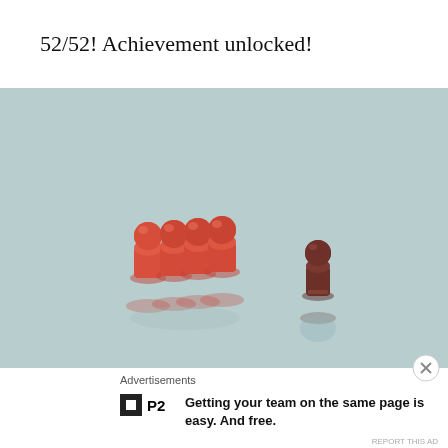52/52! Achievement unlocked!
[Figure (photo): A photo on a light teal/mint background showing four red game pawns grouped together on the left, with one dark brown/maroon game pawn standing alone on the right. Both groups cast reflections on the surface below.]
Advertisements
[Figure (logo): P2 logo: a small black square with a white square inside, followed by bold text 'P2']
Getting your team on the same page is easy. And free.